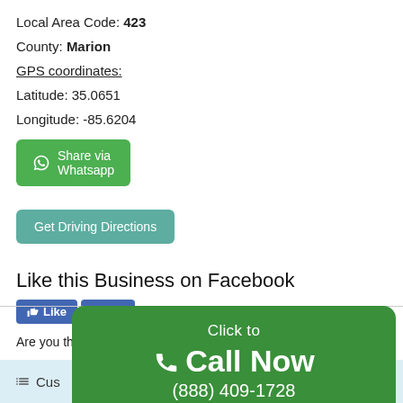Local Area Code: 423
County: Marion
GPS coordinates:
Latitude: 35.0651
Longitude: -85.6204
[Figure (other): Green WhatsApp Share button with WhatsApp icon]
[Figure (other): Teal Get Driving Directions button]
Like this Business on Facebook
[Figure (other): Facebook Like and Share buttons with Sign Up link: Sign Up to see what your friends like.]
Are you the owner? Upgrade your listing here.
[Figure (other): Green Click to Call Now banner with phone number (888) 409-1728]
Cus